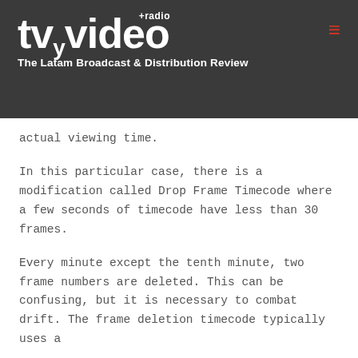[Figure (logo): TV y Video +radio logo with tagline 'The Latam Broadcast & Distribution Review' on dark background]
actual viewing time.
In this particular case, there is a modification called Drop Frame Timecode where a few seconds of timecode have less than 30 frames.
Every minute except the tenth minute, two frame numbers are deleted. This can be confusing, but it is necessary to combat drift. The frame deletion timecode typically uses a